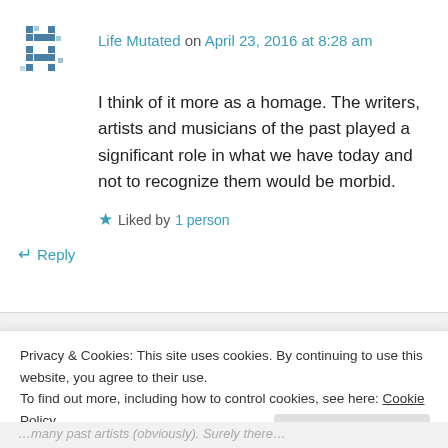Life Mutated on April 23, 2016 at 8:28 am
I think of it more as a homage. The writers, artists and musicians of the past played a significant role in what we have today and not to recognize them would be morbid.
Liked by 1 person
↳ Reply
Privacy & Cookies: This site uses cookies. By continuing to use this website, you agree to their use.
To find out more, including how to control cookies, see here: Cookie Policy
Close and accept